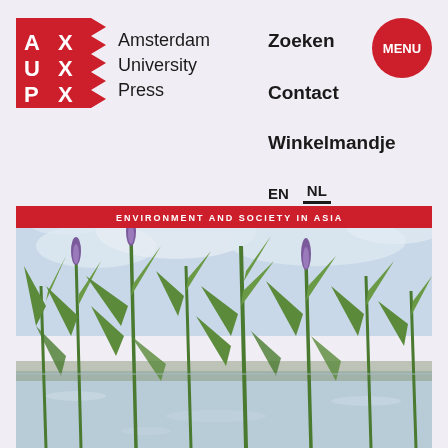[Figure (logo): Amsterdam University Press (AUP) logo — red square with stylized letters A, U, P, X in a zigzag pattern]
Amsterdam
University
Press
Zoeken
Contact
Winkelmandje
[Figure (logo): Red circular MENU button]
EN   NL
[Figure (photo): Book cover for 'Environment and Society in Asia' series — photograph of aquatic plants with purple flowers growing in water, with a cloudy sky background. Red banner at top reads 'ENVIRONMENT AND SOCIETY IN ASIA'.]